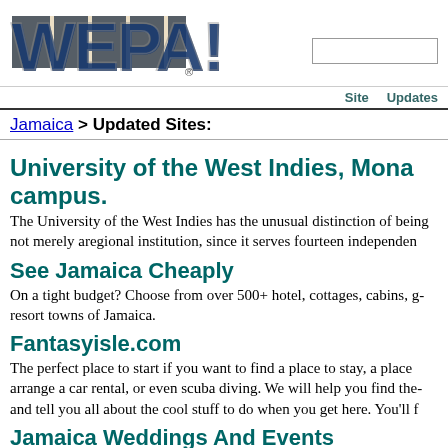[Figure (logo): WEPA! logo with colorful block letters]
Site   Updates
Jamaica > Updated Sites:
University of the West Indies, Mona campus.
The University of the West Indies has the unusual distinction of being not merely aregional institution, since it serves fourteen independen...
See Jamaica Cheaply
On a tight budget? Choose from over 500+ hotel, cottages, cabins, g... resort towns of Jamaica.
Fantasyisle.com
The perfect place to start if you want to find a place to stay, a place arrange a car rental, or even scuba diving. We will help you find the... and tell you all about the cool stuff to do when you get here. You'll f...
Jamaica Weddings And Events
At Holiday Solutions Jamaica Limited we co-ordinate quality event... reunions and weddings in Jamaica. We can provide acommodations...